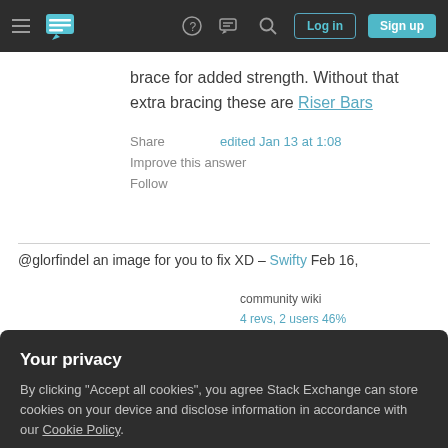Stack Exchange navigation bar with hamburger menu, logo, help, chat, search icons, Log in and Sign up buttons
brace for added strength. Without that extra bracing these are Riser Bars
Share
Improve this answer
Follow
edited Jan 13 at 1:08
community wiki
4 revs, 2 users 46%
Ehryk
@glorfindel an image for you to fix XD – Swifty Feb 16,
Your privacy
By clicking "Accept all cookies", you agree Stack Exchange can store cookies on your device and disclose information in accordance with our Cookie Policy.
Accept all cookies
Customize settings
Pursuit Bars